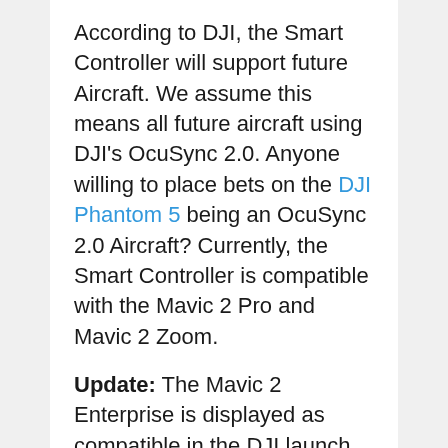According to DJI, the Smart Controller will support future Aircraft. We assume this means all future aircraft using DJI's OcuSync 2.0. Anyone willing to place bets on the DJI Phantom 5 being an OcuSync 2.0 Aircraft? Currently, the Smart Controller is compatible with the Mavic 2 Pro and Mavic 2 Zoom.
Update: The Mavic 2 Enterprise is displayed as compatible in the DJI launch video for the device.
The Mavic 2 Enterprise is not on the compatibility list,